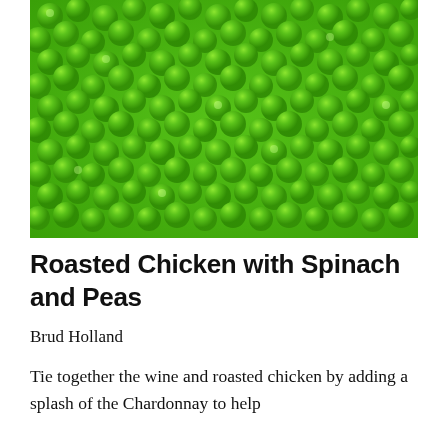[Figure (photo): Close-up photograph of many bright green peas filling the entire frame, glistening with moisture.]
Roasted Chicken with Spinach and Peas
Brud Holland
Tie together the wine and roasted chicken by adding a splash of the Chardonnay to help